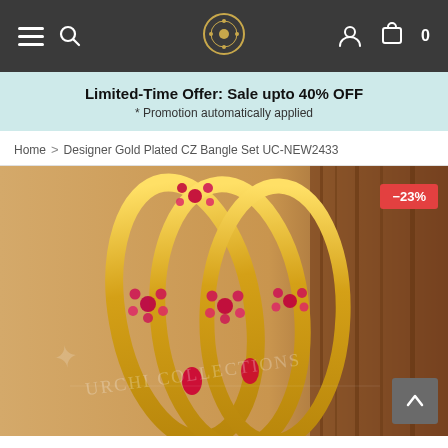Navigation bar with hamburger menu, search, logo, user icon, and cart (0)
Limited-Time Offer: Sale upto 40% OFF * Promotion automatically applied
Home > Designer Gold Plated CZ Bangle Set UC-NEW2433
[Figure (photo): Gold plated CZ bangle set with ruby/pink gemstone flower clusters, shown on wooden surface with brand watermark 'Urchi Collections'. Red discount badge showing -23% in top right corner.]